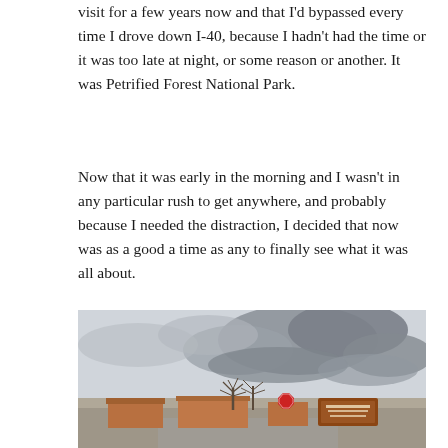visit for a few years now and that I'd bypassed every time I drove down I-40, because I hadn't had the time or it was too late at night, or some reason or another. It was Petrified Forest National Park.
Now that it was early in the morning and I wasn't in any particular rush to get anywhere, and probably because I needed the distraction, I decided that now was as a good a time as any to finally see what it was all about.
[Figure (photo): Photograph of the Petrified Forest National Park entrance building. Low adobe-style structures visible in the middle ground, bare trees, a stop sign, and an overcast stormy sky with dramatic clouds above.]